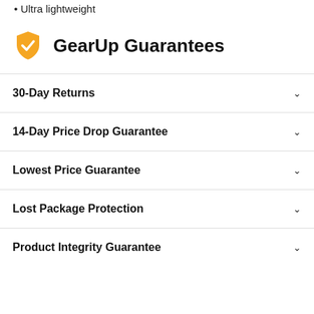• Ultra lightweight
GearUp Guarantees
30-Day Returns
14-Day Price Drop Guarantee
Lowest Price Guarantee
Lost Package Protection
Product Integrity Guarantee